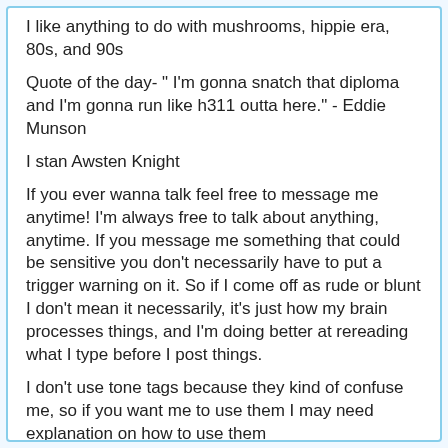I like anything to do with mushrooms, hippie era, 80s, and 90s
Quote of the day- " I'm gonna snatch that diploma and I'm gonna run like h311 outta here." - Eddie Munson
I stan Awsten Knight
If you ever wanna talk feel free to message me anytime! I'm always free to talk about anything, anytime. If you message me something that could be sensitive you don't necessarily have to put a trigger warning on it. So if I come off as rude or blunt I don't mean it necessarily, it's just how my brain processes things, and I'm doing better at rereading what I type before I post things.
I don't use tone tags because they kind of confuse me, so if you want me to use them I may need explanation on how to use them
I watch officedrummer on twitch
Most and his thinking from t...